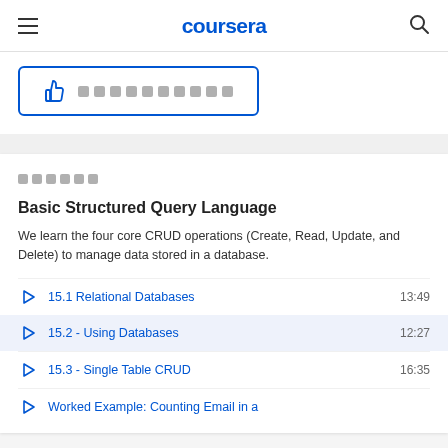coursera
[Figure (screenshot): Thumbs up button with redacted label text, blue outlined button]
██████
Basic Structured Query Language
We learn the four core CRUD operations (Create, Read, Update, and Delete) to manage data stored in a database.
15.1 Relational Databases  13:49
15.2 - Using Databases  12:27
15.3 - Single Table CRUD  16:35
Worked Example: Counting Email in a